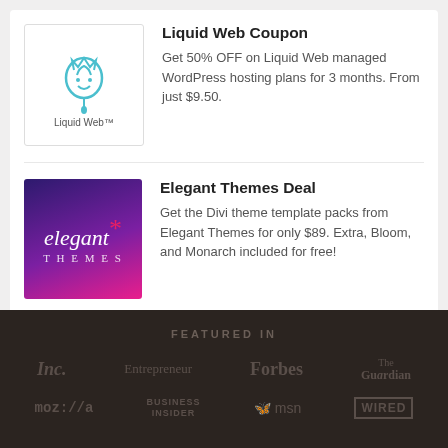[Figure (logo): Liquid Web logo with droplet icon and text 'Liquid Web']
Liquid Web Coupon
Get 50% OFF on Liquid Web managed WordPress hosting plans for 3 months. From just $9.50.
[Figure (logo): Elegant Themes logo on purple/pink gradient background with stylized 'elegant themes' text]
Elegant Themes Deal
Get the Divi theme template packs from Elegant Themes for only $89. Extra, Bloom, and Monarch included for free!
FEATURED IN
[Figure (logo): Publication logos: Inc., Entrepreneur, Forbes, The Guardian, moz://a, Business Insider, msn, WIRED]